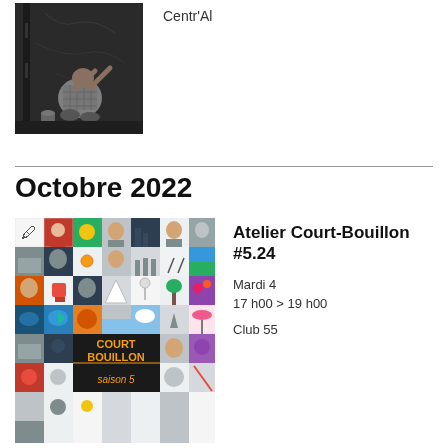[Figure (photo): A person crouching against a dark wall, appearing to paint or draw on it]
Centr'Al
Octobre 2022
[Figure (photo): A collage grid of small images for Court Bouillon saison 5]
Atelier Court-Bouillon #5.24
Mardi 4
17 h00 > 19 h00
Club 55